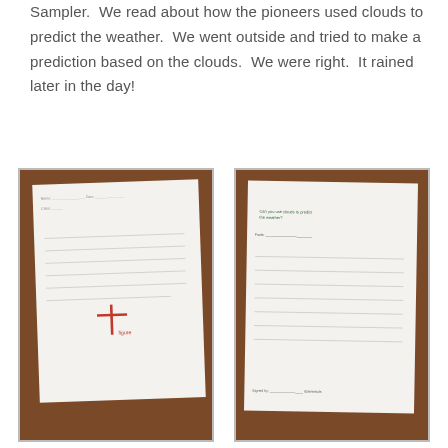Sampler.  We read about how the pioneers used clouds to predict the weather.  We went outside and tried to make a prediction based on the clouds.  We were right.  It rained later in the day!
[Figure (photo): Photo of a handwritten student worksheet on a wooden table, showing a cross/plus drawing in red and handwritten text lines.]
[Figure (photo): Photo of a printed student worksheet on a wooden table with green printed text questions and handwritten answers.]